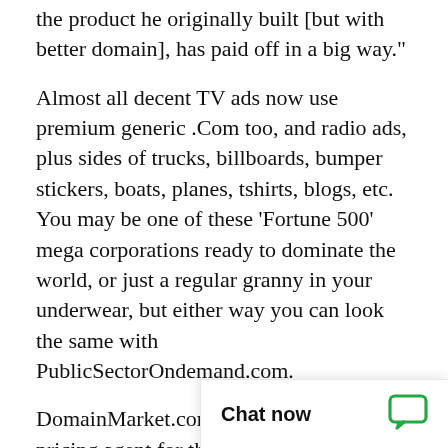the product he originally built [but with better domain], has paid off in a big way."
Almost all decent TV ads now use premium generic .Com too, and radio ads, plus sides of trucks, billboards, bumper stickers, boats, planes, tshirts, blogs, etc. You may be one of these 'Fortune 500' mega corporations ready to dominate the world, or just a regular granny in your underwear, but either way you can look the same with PublicSectorOndemand.com.
DomainMarket.com is the only authorized pricing agent for this domain name, anyone else is a third party seller. Every domain price on this site is completed by top world experts from AccurateAppraisals.com.
It's critical to secure y
Chat now